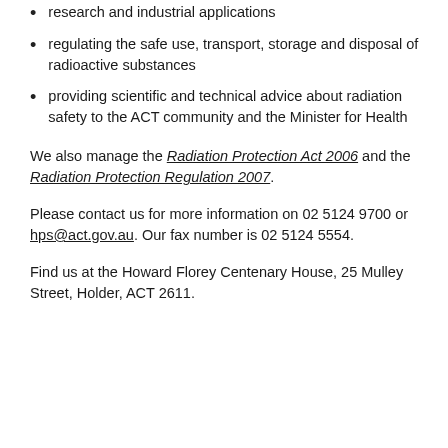research and industrial applications
regulating the safe use, transport, storage and disposal of radioactive substances
providing scientific and technical advice about radiation safety to the ACT community and the Minister for Health
We also manage the Radiation Protection Act 2006 and the Radiation Protection Regulation 2007.
Please contact us for more information on 02 5124 9700 or hps@act.gov.au. Our fax number is 02 5124 5554.
Find us at the Howard Florey Centenary House, 25 Mulley Street, Holder, ACT 2611.